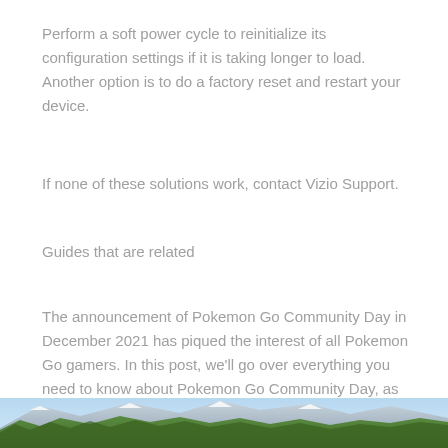Perform a soft power cycle to reinitialize its configuration settings if it is taking longer to load. Another option is to do a factory reset and restart your device.
If none of these solutions work, contact Vizio Support.
Guides that are related
The announcement of Pokemon Go Community Day in December 2021 has piqued the interest of all Pokemon Go gamers. In this post, we'll go over everything you need to know about Pokemon Go Community Day, as well as some extra details.
[Figure (photo): Landscape photo showing mountains and green trees/forest at the bottom of the page]